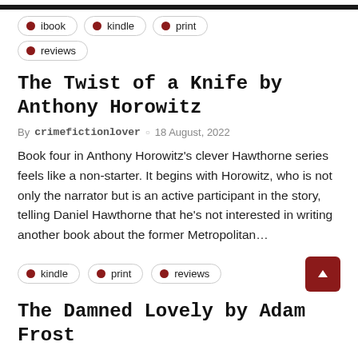ibook
kindle
print
reviews
The Twist of a Knife by Anthony Horowitz
By crimefictionlover ○ 18 August, 2022
Book four in Anthony Horowitz's clever Hawthorne series feels like a non-starter. It begins with Horowitz, who is not only the narrator but is an active participant in the story, telling Daniel Hawthorne that he's not interested in writing another book about the former Metropolitan…
kindle
print
reviews
The Damned Lovely by Adam Frost